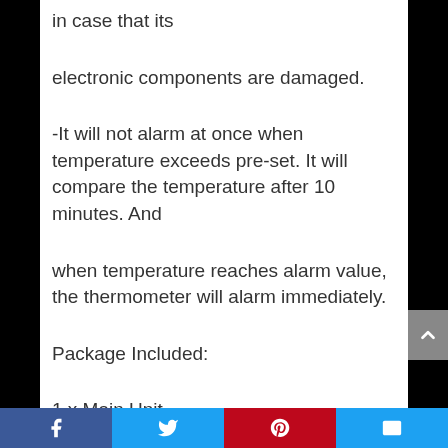in case that its
electronic components are damaged.
-It will not alarm at once when temperature exceeds pre-set. It will compare the temperature after 10 minutes. And
when temperature reaches alarm value, the thermometer will alarm immediately.
Package Included:
1 x Main Unit